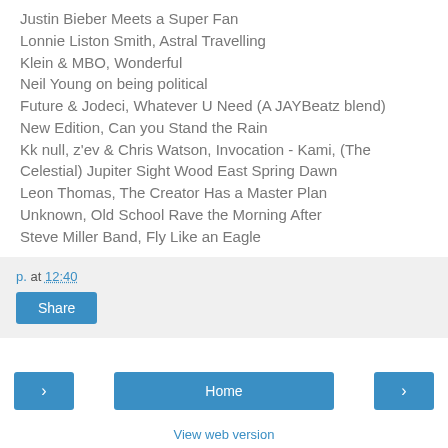Justin Bieber Meets a Super Fan
Lonnie Liston Smith, Astral Travelling
Klein & MBO, Wonderful
Neil Young on being political
Future & Jodeci, Whatever U Need (A JAYBeatz blend)
New Edition, Can you Stand the Rain
Kk null, z'ev & Chris Watson, Invocation - Kami, (The Celestial) Jupiter Sight Wood East Spring Dawn
Leon Thomas, The Creator Has a Master Plan
Unknown, Old School Rave the Morning After
Steve Miller Band, Fly Like an Eagle
p. at 12:40
Share
Home
View web version